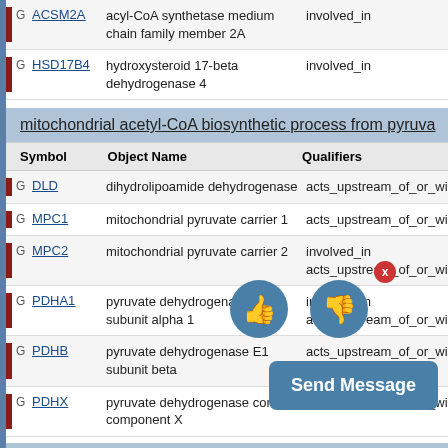| Symbol | Object Name | Qualifiers |
| --- | --- | --- |
| ACSM2A | acyl-CoA synthetase medium chain family member 2A | involved_in |
| HSD17B4 | hydroxysteroid 17-beta dehydrogenase 4 | involved_in |
mitochondrial acetyl-CoA biosynthetic process from pyruva...
| Symbol | Object Name | Qualifiers |
| --- | --- | --- |
| DLD | dihydrolipoamide dehydrogenase | acts_upstream_of_or_within |
| MPC1 | mitochondrial pyruvate carrier 1 | acts_upstream_of_or_within |
| MPC2 | mitochondrial pyruvate carrier 2 | involved_in acts_upstream_of_or_within |
| PDHA1 | pyruvate dehydrogenase E1 subunit alpha 1 | involved_in acts_upstream_of_or_within |
| PDHB | pyruvate dehydrogenase E1 subunit beta | acts_upstream_of_or_within |
| PDHX | pyruvate dehydrogenase complex component X | acts_upstream_of_or_within |
propionyl-CoA biosynthetic process...
| Symbol | Object Name | Qualifiers |
| --- | --- | --- |